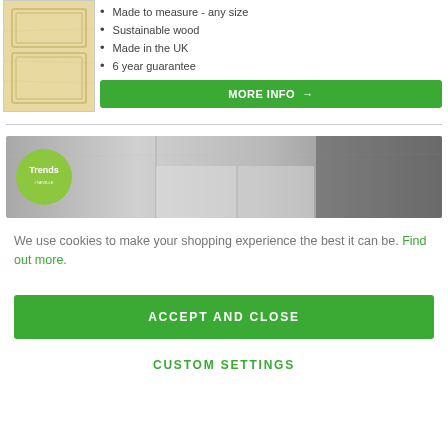[Figure (photo): Wooden door panel image, light pine/maple finish with panel detailing]
Made to measure - any size
Sustainable wood
Made in the UK
6 year guarantee
[Figure (other): MORE INFO → button, green background]
[Figure (photo): Kitchen/room interior photo with Trends by Neville Johnson badge overlay in green circle]
We use cookies to make your shopping experience the best it can be. Find out more.
[Figure (other): ACCEPT AND CLOSE button, green background]
CUSTOM SETTINGS